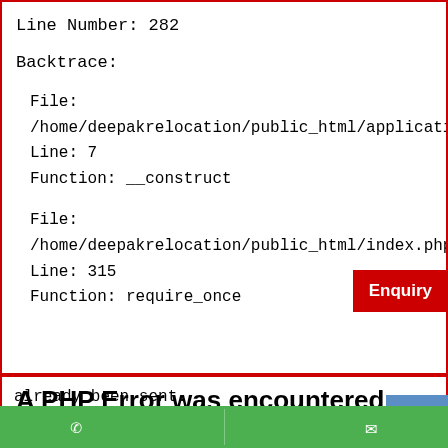Line Number: 282
Backtrace:
File: /home/deepakrelocation/public_html/application/contro
Line: 7
Function: __construct
File: /home/deepakrelocation/public_html/index.php
Line: 315
Function: require_once
A PHP Error was encountered
Severity: Warning
Message:  session_set_cookie_params(): Session cookie
already been sent.